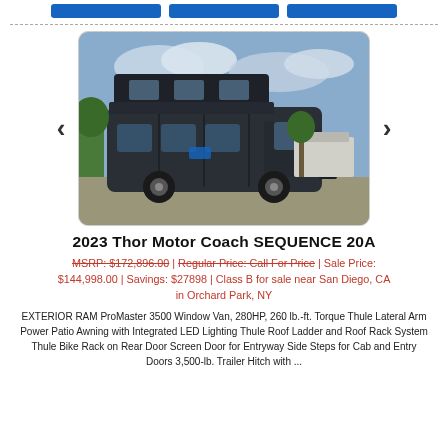[Figure (photo): Three blue navigation/action buttons at top of page]
[Figure (photo): 2023 Thor Motor Coach SEQUENCE 20A van conversion RV, dark grey/black exterior with pop-top roof, parked on gravel lot with other RVs in background and cloudy sky]
2023 Thor Motor Coach SEQUENCE 20A
MSRP: $172,896.00 | Regular Price: Call For Price | Sale Price: $144,998.00 | Savings: $27898 | Class B for sale near San Diego, CA in Orchard Park, NY
EXTERIOR RAM ProMaster 3500 Window Van, 280HP, 260 lb.-ft. Torque Thule Lateral Arm Power Patio Awning with Integrated LED Lighting Thule Roof Ladder and Roof Rack System Thule Bike Rack on Rear Door Screen Door for Entryway Side Steps for Cab and Entry Doors 3,500-lb. Trailer Hitch with ...